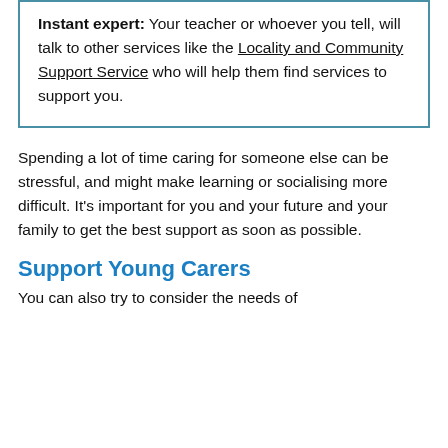Instant expert: Your teacher or whoever you tell, will talk to other services like the Locality and Community Support Service who will help them find services to support you.
Spending a lot of time caring for someone else can be stressful, and might make learning or socialising more difficult. It's important for you and your future and your family to get the best support as soon as possible.
Support Young Carers
You can also try to consider the needs of